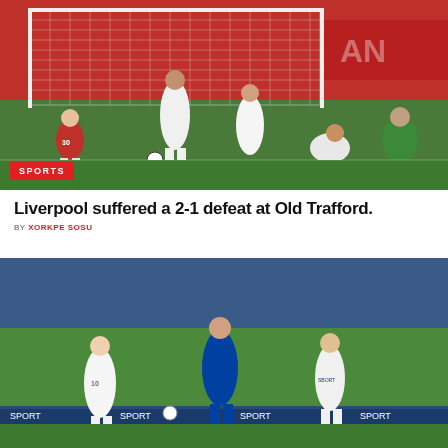[Figure (photo): Football match photo showing players near the goal at Old Trafford, goalkeeper in green kit diving, players in white and red kits]
SPORTS
Liverpool suffered a 2-1 defeat at Old Trafford.
BY XORKPE SOSU
[Figure (photo): Football match photo showing players in blue and white kits competing for the ball on a pitch with blue stadium stands in background]